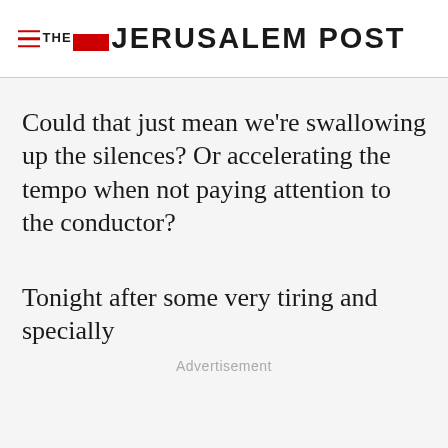THE JERUSALEM POST
Could that just mean we're swallowing up the silences? Or accelerating the tempo when not paying attention to the conductor?
Tonight after some very tiring and specially
Advertisement